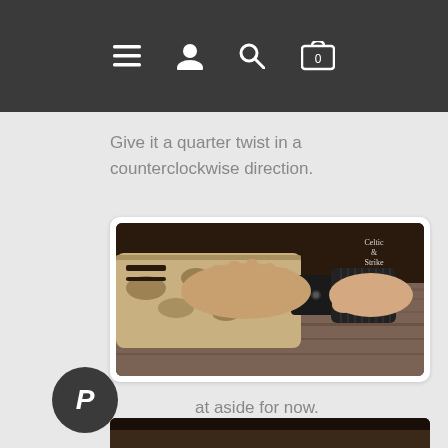Navigation bar with menu, user, search, and cart icons
Give it a quarter twist in a counterclockwise direction.
[Figure (photo): Hands holding and rotating a patterned firearm barrel and suppressor/flashlight attachment on a dark cloth surface. A logo watermark is visible in the top right corner.]
at aside for now.
[Figure (photo): Partially visible photo at bottom of page, similar dark background scene.]